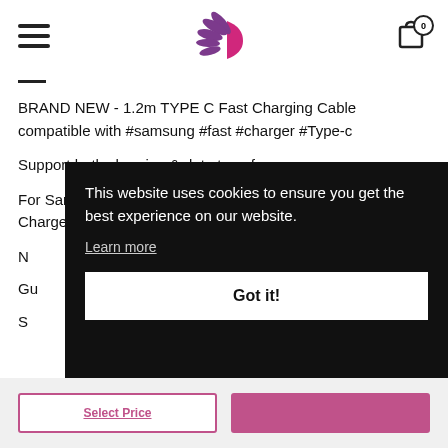Navigation header with hamburger menu, logo, and cart icon (0 items)
BRAND NEW - 1.2m TYPE C Fast Charging Cable compatible with #samsung #fast #charger #Type-c
Support both charging & data transfer
For Samsung Galaxy S8 S9 S10 and latest models, USB Charger Cable/Charging Cord Orginal USB type c cable
N... qu...
Gu...
S...
[Figure (screenshot): Cookie consent banner overlay with text: 'This website uses cookies to ensure you get the best experience on our website.' with Learn more link and Got it! button]
Select Price | Add to Cart buttons